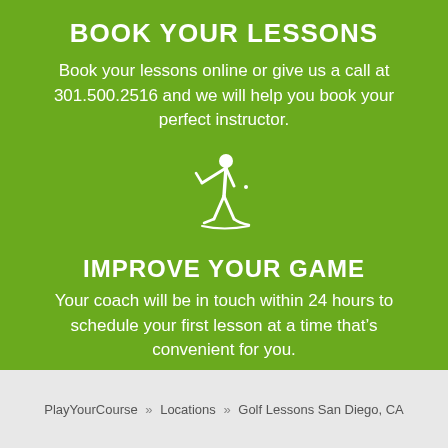BOOK YOUR LESSONS
Book your lessons online or give us a call at 301.500.2516 and we will help you book your perfect instructor.
[Figure (illustration): White silhouette icon of a golfer mid-swing]
IMPROVE YOUR GAME
Your coach will be in touch within 24 hours to schedule your first lesson at a time that’s convenient for you.
PlayYourCourse » Locations » Golf Lessons San Diego, CA